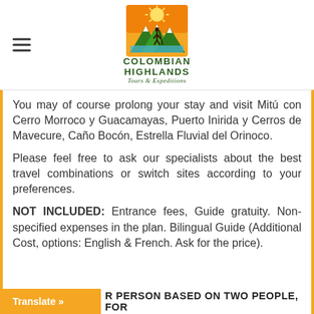[Figure (logo): Colombian Highlands Tours & Expeditions logo with illustrated hiker, mountains, sun and jungle on orange/green background]
You may of course prolong your stay and visit Mitú con Cerro Morroco y Guacamayas, Puerto Inirida y Cerros de Mavecure, Caño Bocón, Estrella Fluvial del Orinoco.
Please feel free to ask our specialists about the best travel combinations or switch sites according to your preferences.
NOT INCLUDED: Entrance fees, Guide gratuity. Non-specified expenses in the plan. Bilingual Guide (Additional Cost, options: English & French. Ask for the price).
R PERSON BASED ON TWO PEOPLE, FOR